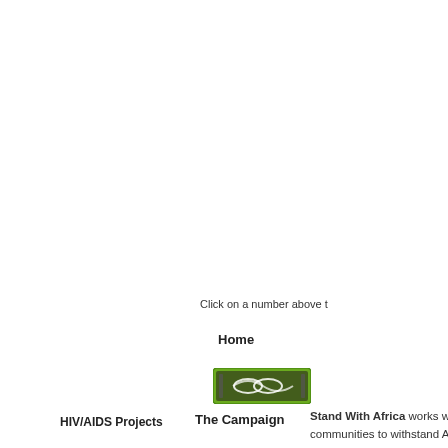Click on a number above t
Home
[Figure (logo): Green bordered button/logo with decorative wave design, representing 'The Campaign']
The Campaign
HIV/AIDS Projects
Stand With Africa works with churches and communities to withstand AIDS, produce